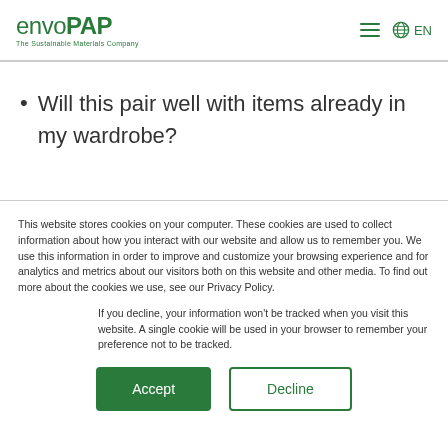envoPAP - The Sustainable Materials Company | EN
Will this pair well with items already in my wardrobe?
This website stores cookies on your computer. These cookies are used to collect information about how you interact with our website and allow us to remember you. We use this information in order to improve and customize your browsing experience and for analytics and metrics about our visitors both on this website and other media. To find out more about the cookies we use, see our Privacy Policy.
If you decline, your information won't be tracked when you visit this website. A single cookie will be used in your browser to remember your preference not to be tracked.
Accept | Decline